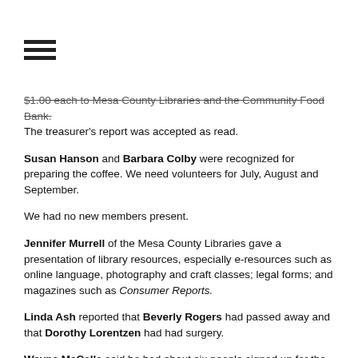[Figure (other): Hamburger menu icon with three horizontal lines]
$1.00 each to Mesa County Libraries and the Community Food Bank. The treasurer's report was accepted as read.
Susan Hanson and Barbara Colby were recognized for preparing the coffee. We need volunteers for July, August and September.
We had no new members present.
Jennifer Murrell of the Mesa County Libraries gave a presentation of library resources, especially e-resources such as online language, photography and craft classes; legal forms; and magazines such as Consumer Reports.
Linda Ash reported that Beverly Rogers had passed away and that Dorothy Lorentzen had had surgery.
Wayne McCalla said he had about six people signed up for the Silverton-Durango trip. He and Dennis Pretti are looking into possible group trips to the Aspen Music Festival on July 5 or 6, the Albuquerque